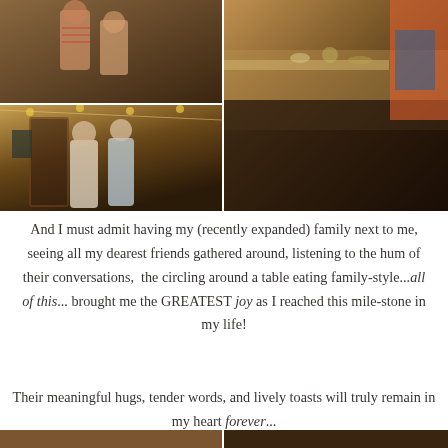[Figure (photo): Grid of three event/party photos showing people at an outdoor tent gathering with string lights and a decorated table]
And I must admit having my (recently expanded) family next to me, seeing all my dearest friends gathered around, listening to the hum of their conversations,  the circling around a table eating family-style...all of this... brought me the GREATEST joy as I reached this milestone in my life!
Their meaningful hugs, tender words, and lively toasts will truly remain in my heart forever...